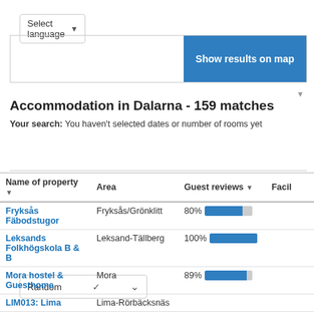Select language ▼
[Figure (screenshot): Map area with 'Show results on map' blue button]
Accommodation in Dalarna - 159 matches
Your search: You haven't selected dates or number of rooms yet
Random ∨
| Name of property ↓ | Area | Guest reviews ↓ | Facil |
| --- | --- | --- | --- |
| Fryksås Fäbodstugor | Fryksås/Grönklitt | 80% |  |
| Leksands Folkhögskola B & B | Leksand-Tällberg | 100% |  |
| Mora hostel & Guesthome | Mora | 89% |  |
| LIM013: Lima | Lima-Rörbäcksnäs |  |  |
| MLG003: Malung | Malung |  |  |